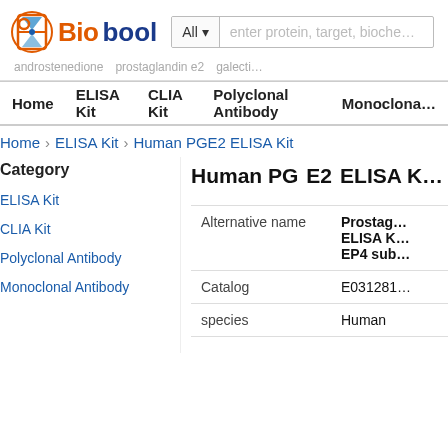Biobool — All | enter protein, target, biochemical name search bar | androstenedione prostaglandin e2 galectin
Home | ELISA Kit | CLIA Kit | Polyclonal Antibody | Monoclonal Antibody
Home › ELISA Kit › Human PGE2 ELISA Kit
Category
ELISA Kit
CLIA Kit
Polyclonal Antibody
Monoclonal Antibody
Human PGE2 ELISA Kit
|  |  |
| --- | --- |
| Alternative name | Prostaglandin ELISA Kit EP4 sub... |
| Catalog | E031281 |
| species | Human |